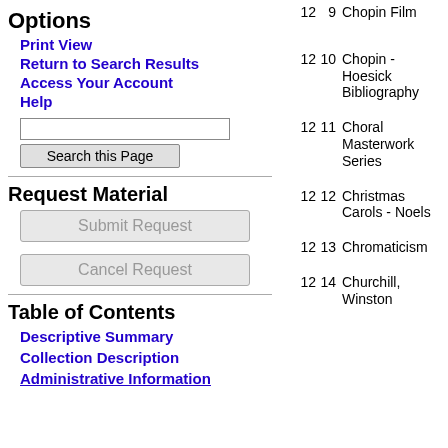Options
Print View
Return to Search Results
Access Your Account
Help
Request Material
Table of Contents
Descriptive Summary
Collection Description
Administrative Information
| Box | Folder | Title |
| --- | --- | --- |
| 12 | 9 | Chopin Film |
| 12 | 10 | Chopin - Hoesick Bibliography |
| 12 | 11 | Choral Masterwork Series |
| 12 | 12 | Christmas Carols - Noels |
| 12 | 13 | Chromaticism |
| 12 | 14 | Churchill, Winston |